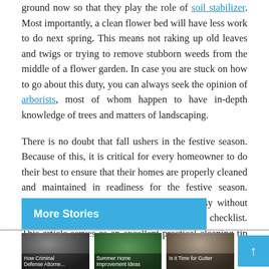ground now so that they play the role of soil stabilizer. Most importantly, a clean flower bed will have less work to do next spring. This means not raking up old leaves and twigs or trying to remove stubborn weeds from the middle of a flower garden. In case you are stuck on how to go about this duty, you can always seek the opinion of arborists, most of whom happen to have in-depth knowledge of trees and matters of landscaping.
There is no doubt that fall ushers in the festive season. Because of this, it is critical for every homeowner to do their best to ensure that their homes are properly cleaned and maintained in readiness for the festive season. However, achieving this objective is not easy without having a comprehensive fall home cleaning checklist. This article serves as an excellent practical cleaning tip for fall.
More Stories
[Figure (photo): Thumbnail image with text overlay: How Criminal Defense Attorneys...]
[Figure (photo): Thumbnail image with text overlay: Summer Home Improvement Ideas]
[Figure (photo): Thumbnail image with text overlay: Is it Time for Gutter...]